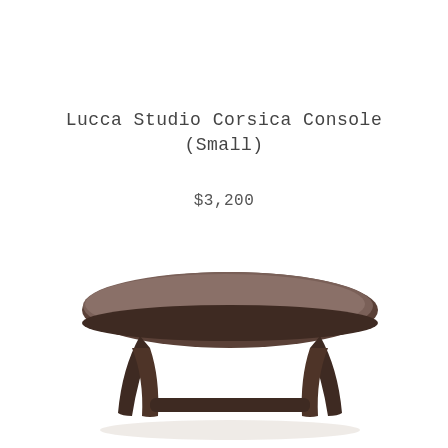Lucca Studio Corsica Console (Small)
$3,200
[Figure (photo): A round-top dark wood console stool or side table with curved legs, viewed from slightly above. The top is a large oval/circle of dark gray-brown wood, with a curved dark wooden base structure beneath it.]